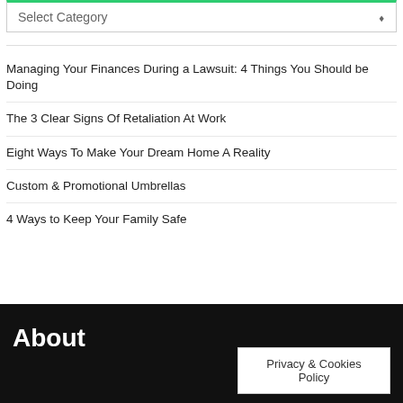Select Category
Managing Your Finances During a Lawsuit: 4 Things You Should be Doing
The 3 Clear Signs Of Retaliation At Work
Eight Ways To Make Your Dream Home A Reality
Custom & Promotional Umbrellas
4 Ways to Keep Your Family Safe
About
Privacy & Cookies Policy